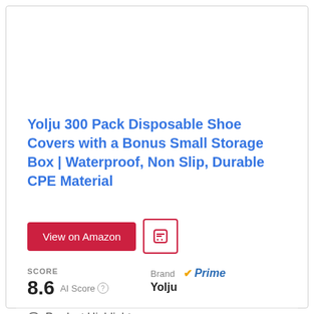Yolju 300 Pack Disposable Shoe Covers with a Bonus Small Storage Box | Waterproof, Non Slip, Durable CPE Material
View on Amazon
SCORE 8.6 AI Score  Brand  Prime Yolju
Product Highlights